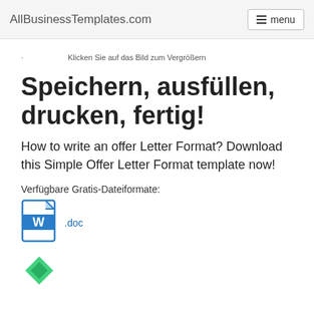AllBusinessTemplates.com  menu
Klicken Sie auf das Bild zum Vergrößern
Speichern, ausfüllen, drucken, fertig!
How to write an offer Letter Format? Download this Simple Offer Letter Format template now!
Verfügbare Gratis-Dateiformate:
[Figure (illustration): Word document icon (.doc file format icon) with blue W logo]